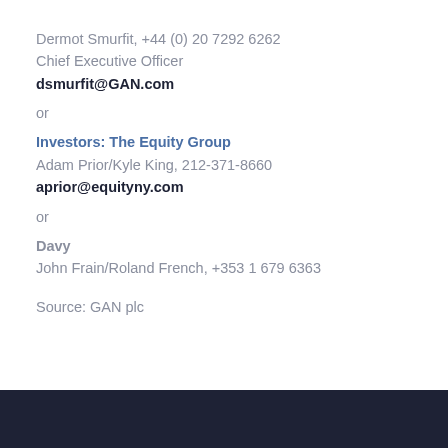Dermot Smurfit, +44 (0) 20 7292 6262
Chief Executive Officer
dsmurfit@GAN.com
or
Investors: The Equity Group
Adam Prior/Kyle King, 212-371-8660
aprior@equityny.com
or
Davy
John Frain/Roland French, +353 1 679 6363
Source: GAN plc